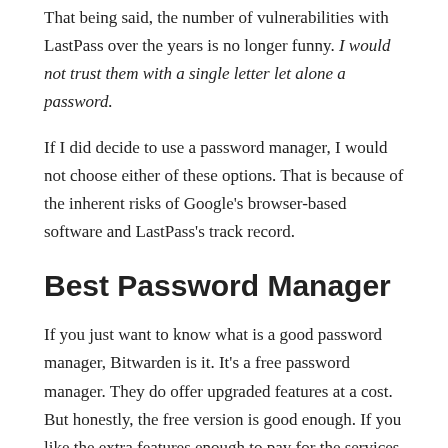That being said, the number of vulnerabilities with LastPass over the years is no longer funny. I would not trust them with a single letter let alone a password.
If I did decide to use a password manager, I would not choose either of these options. That is because of the inherent risks of Google's browser-based software and LastPass's track record.
Best Password Manager
If you just want to know what is a good password manager, Bitwarden is it. It's a free password manager. They do offer upgraded features at a cost. But honestly, the free version is good enough. If you like the extra features enough to pay for the services, you probably wouldn't mind the fee.
It's also open-source which is beneficial. That's because it opens it up for cybersecurity experts like myself to find vulnerabilities before they become a problem. There are no secrets in the codebase and that is a good thing.